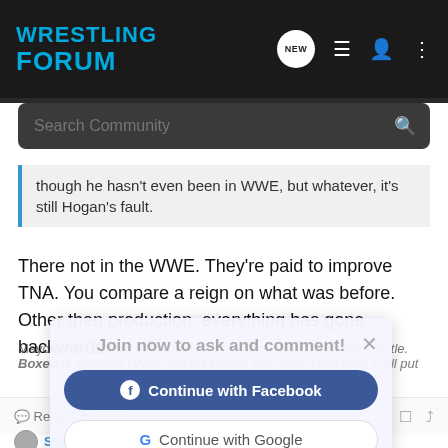WRESTLING FORUM
Search Community
though he hasn't even been in WWE, but whatever, it's still Hogan's fault.
There not in the WWE. They're paid to improve TNA. You compare a reign on what was before. Other then production, everything has gone backwards.
Join now to ask and comment!
Continue with Facebook
Continue with Google
or sign up with email
Mayorga on BJJ: Real men fight- ******** roll on ground and wrestle. Boxeo is numero UNO! Tell BJ to box me- after I KO him, I will put
Reply   Quote
SOB   Banned